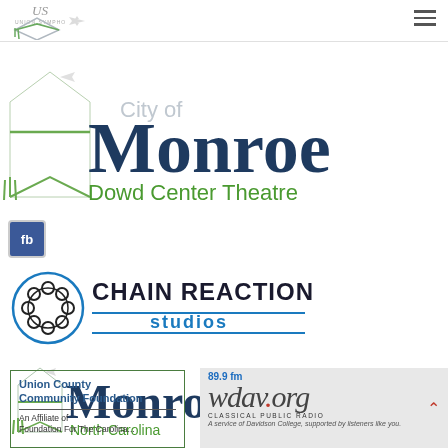[Figure (logo): Union Symphony logo - top left with airplane icon]
[Figure (logo): City of Monroe Dowd Center Theatre logo - large text with green book/building icon]
[Figure (logo): Facebook button - blue fb square]
[Figure (logo): Chain Reaction Studios logo - circular gear-like icon with blue and black text]
[Figure (logo): Monroe North Carolina logo - with green angular icon and airplane]
[Figure (logo): Union County Community Foundation logo in green border box with affiliate text]
[Figure (logo): 89.9fm wdav.org Classical Public Radio - A service of Davidson College logo on gray background]